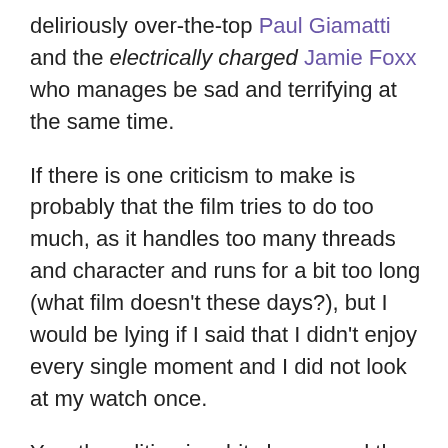deliriously over-the-top Paul Giamatti and the electrically charged Jamie Foxx who manages be sad and terrifying at the same time.
If there is one criticism to make is probably that the film tries to do too much, as it handles too many threads and character and runs for a bit too long (what film doesn't these days?), but I would be lying if I said that I didn't enjoy every single moment and I did not look at my watch once.
Yes, the editing is a bit choppy and the order of some of the scenes sometimes feels a bit arbitrary (clearly they must have left a fair bit in the editing room), but it's all entertaining enough and it all runs along at a brisk pace that you hardly notice it.